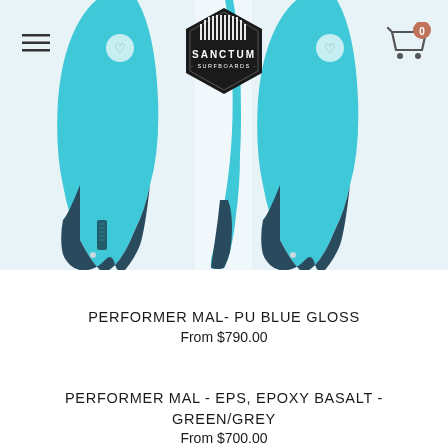[Figure (logo): Sanctum Surfboards hexagonal logo in black with white text and vertical bar pattern]
[Figure (photo): Three views of a surfboard (Performer Mal) in blue gloss PU finish showing nose, fin, and bottom views against light blue background]
PERFORMER MAL- PU BLUE GLOSS
From $790.00
PERFORMER MAL - EPS, EPOXY BASALT - GREEN/GREY
From $700.00